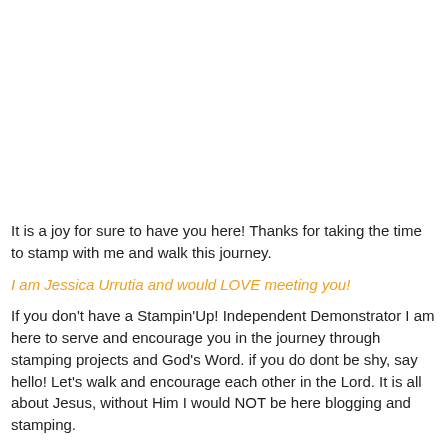It is a joy for sure to have you here! Thanks for taking the time to stamp with me and walk this journey.
I am Jessica Urrutia and would LOVE meeting you!
If you don't have a Stampin'Up! Independent Demonstrator I am here to serve and encourage you in the journey through stamping projects and God's Word. if you do dont be shy, say hello! Let's walk and encourage each other in the Lord. It is all about Jesus, without Him I would NOT be here blogging and stamping.